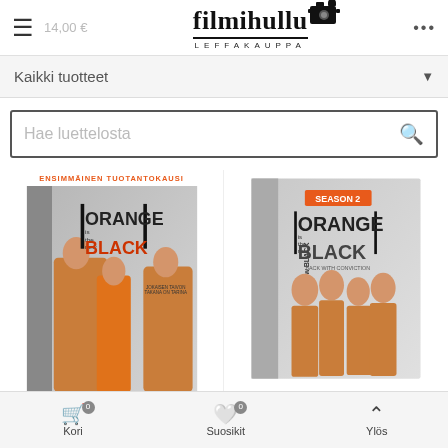filmihullu LEFFAKAUPPA — 14.00 €
Kaikki tuotteet
Hae luettelosta
[Figure (photo): Orange is the New Black Season 1 DVD cover — ENSIMMÄINEN TUOTANTOKAUSI label in orange, show logo with ORANGE in large letters and BLACK in red/orange]
[Figure (photo): Orange is the New Black Season 2 DVD box set — SEASON 2 label in orange, show logo, BACK WITH CONVICTION tagline]
Kori 0   Suosikit 0   Ylös